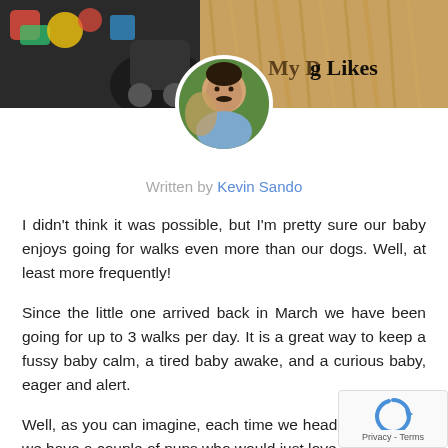[Figure (photo): Banner image with dogs and toys at top, with 'MY DOG LIKES' text on the right side]
[Figure (photo): Circular avatar of a young man with a mustache, with a dog visible behind him]
Written by Kevin Sando
I didn't think it was possible, but I'm pretty sure our baby enjoys going for walks even more than our dogs. Well, at least more frequently!
Since the little one arrived back in March we have been going for up to 3 walks per day. It is a great way to keep a fussy baby calm, a tired baby awake, and a curious baby, eager and alert.
Well, as you can imagine, each time we head out the door we have a couple of pups who would just love to join
In this installment of our dogs and babies training se... we are going to be showing you something that has been